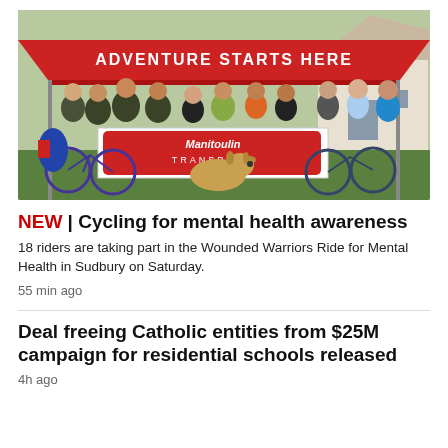[Figure (photo): Group of cyclists and supporters posing under a red tent that reads 'ADVENTURE STARTS HERE', holding a Manitoulin Transport banner. A German Shepherd dog sits in the foreground. Bicycles are visible.]
NEW | Cycling for mental health awareness
18 riders are taking part in the Wounded Warriors Ride for Mental Health in Sudbury on Saturday.
55 min ago
Deal freeing Catholic entities from $25M campaign for residential schools released
4h ago